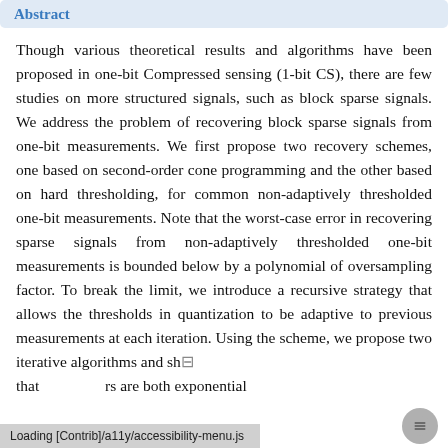Abstract
Though various theoretical results and algorithms have been proposed in one-bit Compressed sensing (1-bit CS), there are few studies on more structured signals, such as block sparse signals. We address the problem of recovering block sparse signals from one-bit measurements. We first propose two recovery schemes, one based on second-order cone programming and the other based on hard thresholding, for common non-adaptively thresholded one-bit measurements. Note that the worst-case error in recovering sparse signals from non-adaptively thresholded one-bit measurements is bounded below by a polynomial of oversampling factor. To break the limit, we introduce a recursive strategy that allows the thresholds in quantization to be adaptive to previous measurements at each iteration. Using the scheme, we propose two iterative algorithms and sh that rs are both exponential
Loading [Contrib]/a11y/accessibility-menu.js